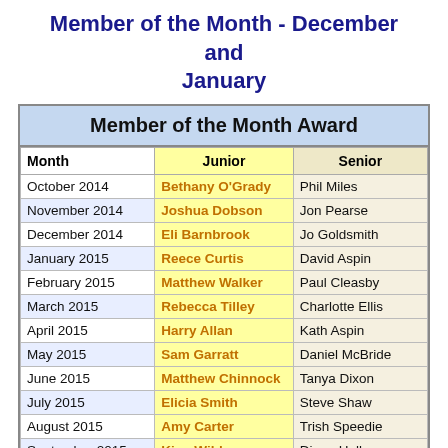Member of the Month - December and January
| Month | Junior | Senior |
| --- | --- | --- |
| October 2014 | Bethany O'Grady | Phil Miles |
| November 2014 | Joshua Dobson | Jon Pearse |
| December 2014 | Eli Barnbrook | Jo Goldsmith |
| January 2015 | Reece Curtis | David Aspin |
| February 2015 | Matthew Walker | Paul Cleasby |
| March 2015 | Rebecca Tilley | Charlotte Ellis |
| April 2015 | Harry Allan | Kath Aspin |
| May 2015 | Sam Garratt | Daniel McBride |
| June 2015 | Matthew Chinnock | Tanya Dixon |
| July 2015 | Elicia Smith | Steve Shaw |
| August 2015 | Amy Carter | Trish Speedie |
| September 2015 | Kian Wildmore | Diane Hall |
| October 2015 | Jack... | Helen Jones |